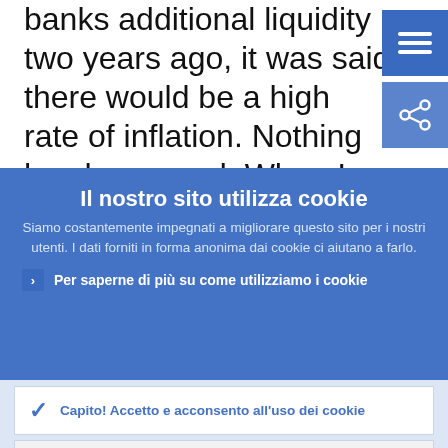banks additional liquidity two years ago, it was said there would be a high rate of inflation. Nothing has happened. When I made my comment in London, there was talk of a violation of the central bank's
Il nostro sito utilizza cookie
Siamo costantemente impegnati a migliorare questo sito per i nostri utenti. I dati forniti in forma anonima dai cookie ci aiutano a farlo.
Per saperne di più su come utilizziamo i cookie
Capito! Accetto e acconsento all'uso dei cookie
Non accetto e non acconsento all'uso dei cookie